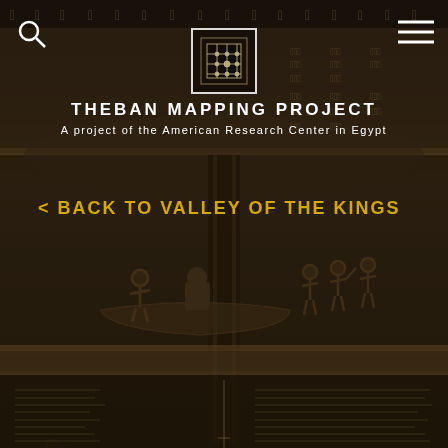[Figure (screenshot): Theban Mapping Project website screenshot showing Egyptian wall painting/hieroglyph background with navigation header and back link overlay]
THEBAN MAPPING PROJECT
A project of the American Research Center in Egypt
< BACK TO VALLEY OF THE KINGS